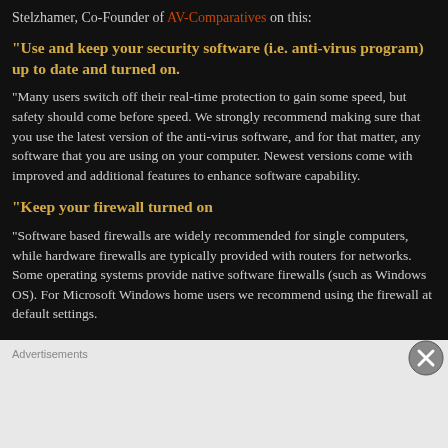Stelzhamer, Co-Founder of AV-Comparatives on this:
"Use and keep your security software (i.e. anti-virus program) up to date and turned on.
"Many users switch off their real-time protection to gain some speed, but safety should come before speed. We strongly recommend making sure that you use the latest version of the anti-virus software, and for that matter, any software that you are using on your computer. Newest versions come with improved and additional features to enhance software capability.
"Keep your firewall turned on
"Software based firewalls are widely recommended for single computers, while hardware firewalls are typically provided with routers for networks. Some operating systems provide native software firewalls (such as Windows OS). For Microsoft Windows home users we recommend using the firewall at default settings.
"Always perform the updates of your OS
"If you use the Internet on your computer, then it is connected to the widest network there is – the World Wide Web. Since the WWW is a very dynamic space, operating systems permanently adapt to threats by releas...
Advertisements